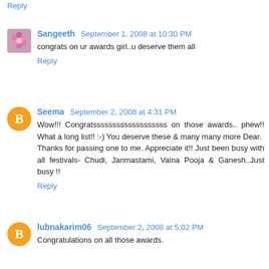Reply
Sangeeth  September 1, 2008 at 10:30 PM
congrats on ur awards girl..u deserve them all
Reply
Seema  September 2, 2008 at 4:31 PM
Wow!!!  Congratsssssssssssssssssss  on  those  awards..phew!!  What  a  long  list!!  :-)  You  deserve  these  &  many  many  more  Dear.
Thanks  for  passing  one  to  me.  Appreciate  it!!  Just  been  busy  with  all  festivals-  Chudi,  Janmastami,  Vaina  Pooja  &  Ganesh..Just  busy !!
Reply
lubnakarim06  September 2, 2008 at 5:02 PM
Congratulations on all those awards.